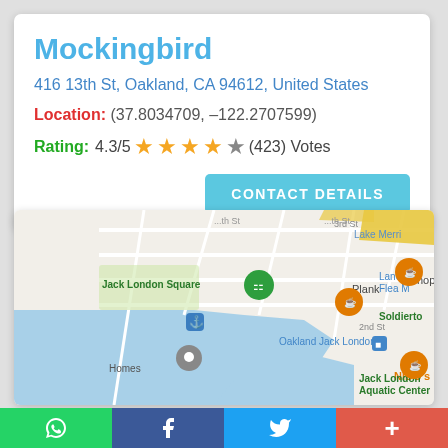Mockingbird
416 13th St, Oakland, CA 94612, United States
Location: (37.8034709, –122.2707599)
Rating: 4.3/5 ★★★★☆ (423) Votes
[Figure (map): Google Maps view of Jack London Square area, Oakland, CA, showing waterfront, streets, and nearby points of interest including Plank, Chop Bar, NIDO's BackYard, Oakland Jack London station, Jack London Aquatic Center, Laney C Flea M, Soldierto, Homes.]
WhatsApp | Facebook | Twitter | More